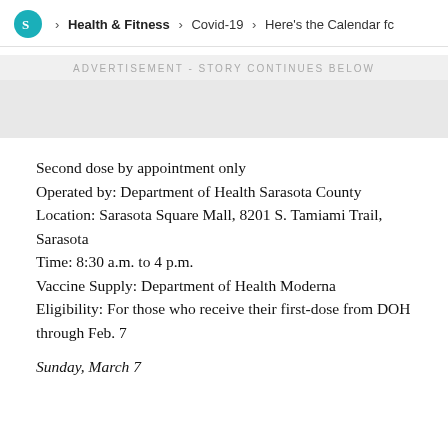Health & Fitness > Covid-19 > Here's the Calendar fc
ADVERTISEMENT - STORY CONTINUES BELOW
Second dose by appointment only
Operated by: Department of Health Sarasota County
Location: Sarasota Square Mall, 8201 S. Tamiami Trail, Sarasota
Time: 8:30 a.m. to 4 p.m.
Vaccine Supply: Department of Health Moderna
Eligibility: For those who receive their first-dose from DOH through Feb. 7
Sunday, March 7